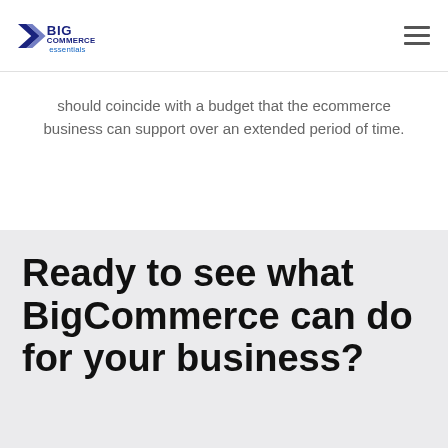BigCommerce essentials
should coincide with a budget that the ecommerce business can support over an extended period of time.
Ready to see what BigCommerce can do for your business?